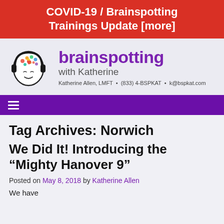COVID-19 / Brainspotting Trainings Update [more]
[Figure (logo): Brainspotting with Katherine logo — illustrated face with headphones and colorful brain, alongside site name and contact info]
Tag Archives: Norwich
We Did It! Introducing the “Mighty Hanover 9”
Posted on May 8, 2018 by Katherine Allen
We have